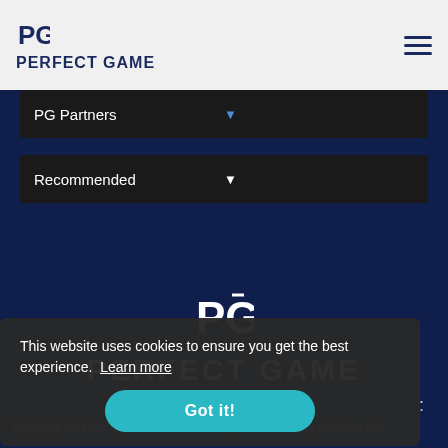PERFECT GAME
PG Partners
Recommended
[Figure (logo): Perfect Game logo in white on dark navy background]
PERFECT GAME
This website uses cookies to ensure you get the best experience. Learn more
Got it!
Copyright 1994-2022 by Perfect Game. All rights reserved. No portion of this information may be reprinted or displayed without the written